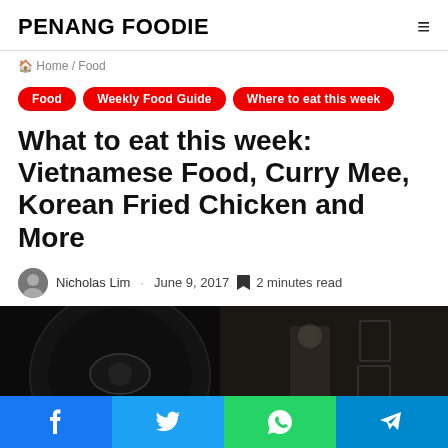PENANG FOODIE
Home / Food
Food
Weekly Food Guide
Where to eat this week
What to eat this week: Vietnamese Food, Curry Mee, Korean Fried Chicken and More
Nicholas Lim · June 9, 2017 📄 2 minutes read
[Figure (photo): Dark restaurant interior photo with diners and artwork on walls]